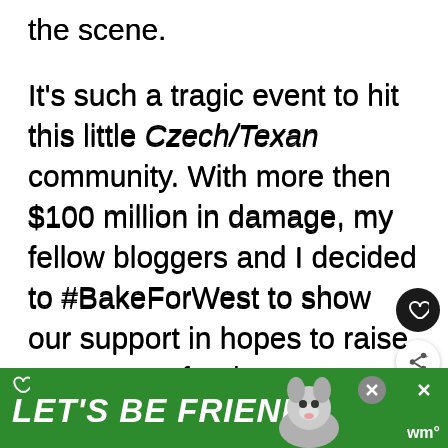the scene.
It's such a tragic event to hit this little Czech/Texan community. With more then $100 million in damage, my fellow bloggers and I decided to #BakeForWest to show our support in hopes to raise awareness for those to donate to help this great Czech/Texan town West, TX.
[Figure (screenshot): Green advertisement banner at bottom reading LET'S BE FRIENDS with a husky dog image and close buttons]